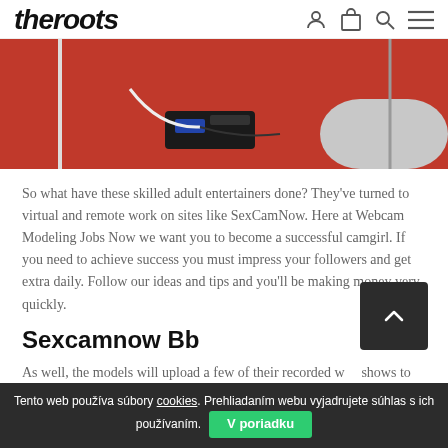the roots
[Figure (photo): Red background with camera equipment, microphone stand, and electronics setup visible]
So what have these skilled adult entertainers done? They've turned to virtual and remote work on sites like SexCamNow. Here at Webcam Modeling Jobs Now we want you to become a successful camgirl. If you need to achieve success you must impress your followers and get extra daily. Follow our ideas and tips and you'll be making money very quickly.
Sexcamnow Bb
As well, the models will upload a few of their recorded w... shows to websites like sexHub to further promote themselves. Now,
Tento web používa súbory cookies. Prehliadaním webu vyjadrujete súhlas s ich používaním. V poriadku